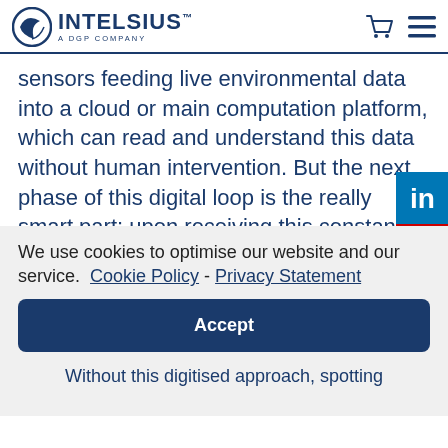INTELSIUS™ A DGP COMPANY
sensors feeding live environmental data into a cloud or main computation platform, which can read and understand this data without human intervention. But the next phase of this digital loop is the really smart part: upon receiving this constant stream of live data, a fully integrated Bioprocessing 4.0 system can then use this information to
We use cookies to optimise our website and our service.  Cookie Policy  -  Privacy Statement
Accept
Without this digitised approach, spotting